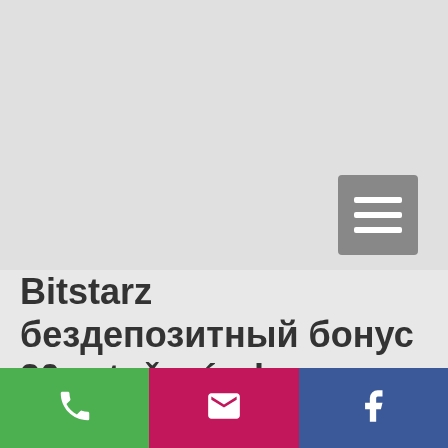[Figure (screenshot): Gray top area with a hamburger menu button (three horizontal white lines on gray background) positioned at right side]
Bitstarz бездепозитный бонус 20 zatočení zdarma
You can watch short videos, complete short surveys or install mobile apps to receive bitcoins. You can also earn free bitcoins from
[Figure (infographic): Bottom action bar with three buttons: green phone/call button, magenta/pink email button, blue Facebook button]